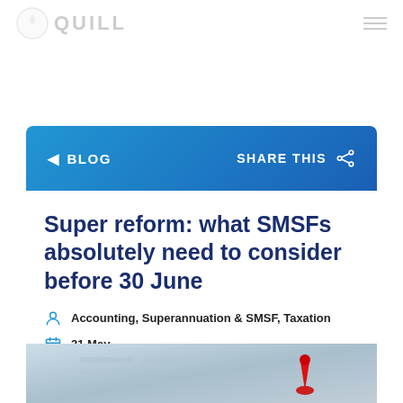Quill
◄ BLOG    SHARE THIS
Super reform: what SMSFs absolutely need to consider before 30 June
Accounting, Superannuation & SMSF, Taxation
31 May
[Figure (photo): Blurred calendar with a red pin/thumb tack in the foreground, suggesting an important upcoming date deadline.]